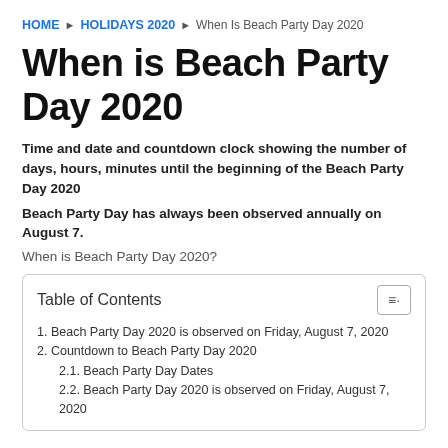HOME ▶ HOLIDAYS 2020 ▶ When Is Beach Party Day 2020
When is Beach Party Day 2020
Time and date and countdown clock showing the number of days, hours, minutes until the beginning of the Beach Party Day 2020
Beach Party Day has always been observed annually on August 7.
When is Beach Party Day 2020?
| Table of Contents |
| --- |
| 1. Beach Party Day 2020 is observed on Friday, August 7, 2020 |
| 2. Countdown to Beach Party Day 2020 |
| 2.1. Beach Party Day Dates |
| 2.2. Beach Party Day 2020 is observed on Friday, August 7, 2020 |